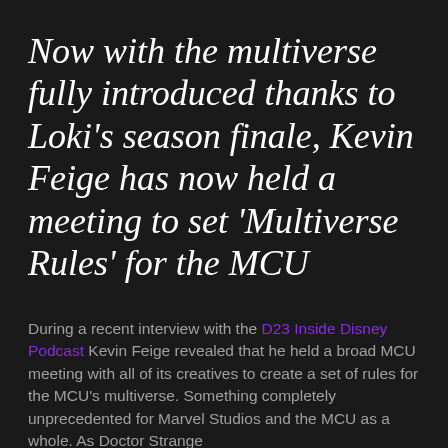Now with the multiverse fully introduced thanks to Loki's season finale, Kevin Feige has now held a meeting to set 'Multiverse Rules' for the MCU
During a recent interview with the D23 Inside Disney Podcast Kevin Feige revealed that he held a broad MCU meeting with all of its creatives to create a set of rules for the MCU's multiverse. Something completely unprecedented for Marvel Studios and the MCU as a whole. As Doctor Strange